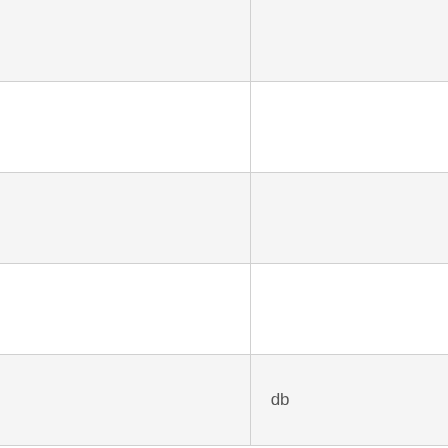| (col1) | (col2) | (col3 - partial) |
| --- | --- | --- |
|  |  | housekeep… |
|  |  | housekeep… |
|  |  | housekeep… |
|  |  | housekeep… |
|  | db | conn_max_… |